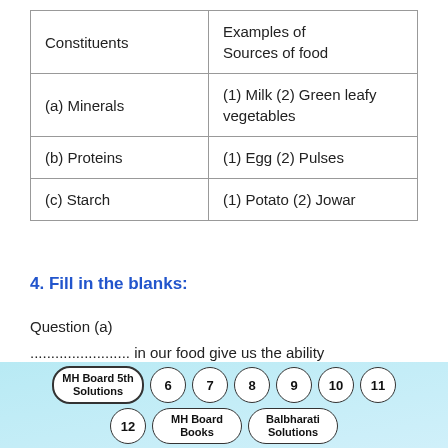| Constituents | Examples of Sources of food |
| --- | --- |
| (a) Minerals | (1) Milk (2) Green leafy vegetables |
| (b) Proteins | (1) Egg (2) Pulses |
| (c) Starch | (1) Potato (2) Jowar |
4. Fill in the blanks:
Question (a)
........................ in our food give us the ability to resist diseases.
MH Board 5th Solutions | 6 | 7 | 8 | 9 | 10 | 11 | 12 | MH Board Books | Balbharati Solutions